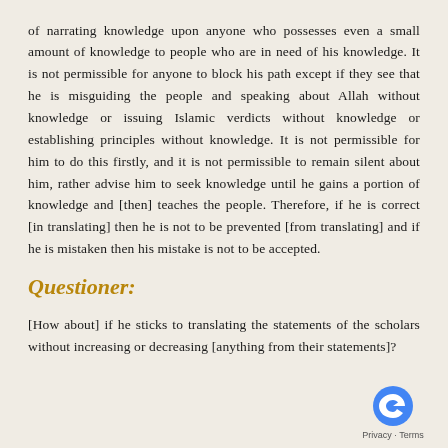of narrating knowledge upon anyone who possesses even a small amount of knowledge to people who are in need of his knowledge. It is not permissible for anyone to block his path except if they see that he is misguiding the people and speaking about Allah without knowledge or issuing Islamic verdicts without knowledge or establishing principles without knowledge. It is not permissible for him to do this firstly, and it is not permissible to remain silent about him, rather advise him to seek knowledge until he gains a portion of knowledge and [then] teaches the people. Therefore, if he is correct [in translating] then he is not to be prevented [from translating] and if he is mistaken then his mistake is not to be accepted.
Questioner:
[How about] if he sticks to translating the statements of the scholars without increasing or decreasing [anything from their statements]?